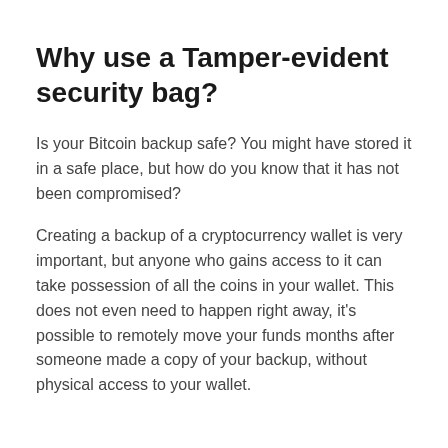Why use a Tamper-evident security bag?
Is your Bitcoin backup safe? You might have stored it in a safe place, but how do you know that it has not been compromised?
Creating a backup of a cryptocurrency wallet is very important, but anyone who gains access to it can take possession of all the coins in your wallet. This does not even need to happen right away, it's possible to remotely move your funds months after someone made a copy of your backup, without physical access to your wallet.